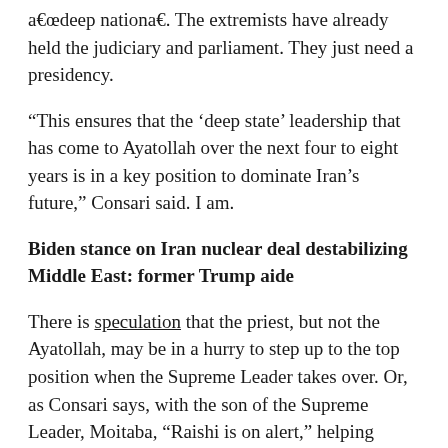“deep national”. The extremists have already held the judiciary and parliament. They just need a presidency.
“This ensures that the ‘deep state’ leadership that has come to Ayatollah over the next four to eight years is in a key position to dominate Iran’s future,” Consari said. I am.
Biden stance on Iran nuclear deal destabilizing Middle East: former Trump aide
There is speculation that the priest, but not the Ayatollah, may be in a hurry to step up to the top position when the Supreme Leader takes over. Or, as Consari says, with the son of the Supreme Leader, Moitaba, “Raishi is on alert,” helping young Khamenei eventually move to his father.
But holding all the levers of strength means that gold always stops in a difficult camp. In the past, top rulers have blamed people like Mohammad Hatami, Hassan Rouhani, and Javad Zarif for the failure. And to sell